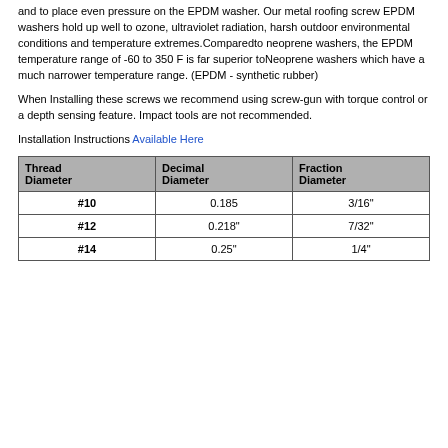and to place even pressure on the EPDM washer. Our metal roofing screw EPDM washers hold up well to ozone, ultraviolet radiation, harsh outdoor environmental conditions and temperature extremes.Comparedto neoprene washers, the EPDM temperature range of -60 to 350 F is far superior toNeoprene washers which have a much narrower temperature range. (EPDM - synthetic rubber)
When Installing these screws we recommend using screw-gun with torque control or a depth sensing feature. Impact tools are not recommended.
Installation Instructions Available Here
| Thread Diameter | Decimal Diameter | Fraction Diameter |
| --- | --- | --- |
| #10 | 0.185 | 3/16" |
| #12 | 0.218" | 7/32" |
| #14 | 0.25" | 1/4" |